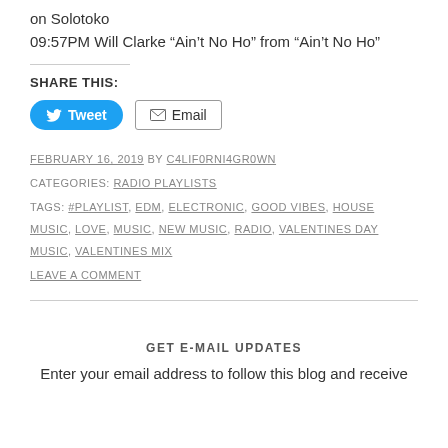on Solotoko
09:57PM Will Clarke “Ain’t No Ho” from “Ain’t No Ho”
SHARE THIS:
Tweet  Email
FEBRUARY 16, 2019 BY C4LIF0RNI4GR0WN
CATEGORIES: RADIO PLAYLISTS
TAGS: #PLAYLIST, EDM, ELECTRONIC, GOOD VIBES, HOUSE MUSIC, LOVE, MUSIC, NEW MUSIC, RADIO, VALENTINES DAY MUSIC, VALENTINES MIX
LEAVE A COMMENT
GET E-MAIL UPDATES
Enter your email address to follow this blog and receive